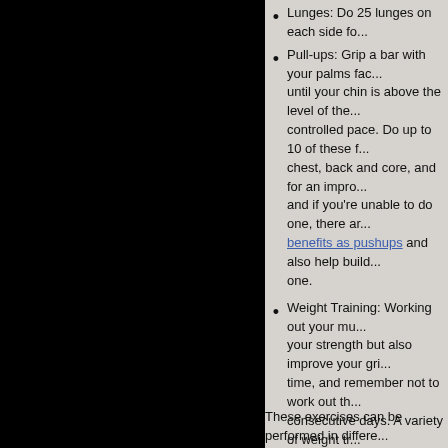Lunges: Do 25 lunges on each side fo...
Pull-ups: Grip a bar with your palms fac... until your chin is above the level of the... controlled pace. Do up to 10 of these f... chest, back and core, and for an impro... and if you're unable to do one, there ar... benefits as pushups and also help build... one.
Weight Training: Working out your mus... your strength but also improve your gri... time, and remember not to work out the... consecutive days. A variety of weight tr... utilizing different equipment including d... Don't neglect your legs while weight tr... staying balanced in position, maneuve... wakeboard.
These exercises can be performed in differe...